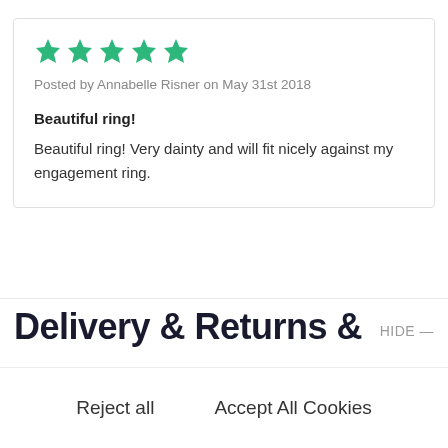★★★★★ (5 stars)
Posted by Annabelle Risner on May 31st 2018
Beautiful ring!
Beautiful ring! Very dainty and will fit nicely against my engagement ring.
Delivery & Returns &
HIDE —
Reject all
Accept All Cookies